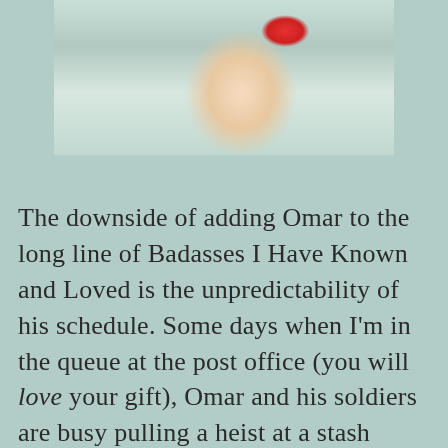[Figure (photo): A smiling person wearing a red clown nose, photographed indoors with colorful background items visible on shelves or walls behind them.]
The downside of adding Omar to the long line of Badasses I Have Known and Loved is the unpredictability of his schedule. Some days when I'm in the queue at the post office (you will love your gift), Omar and his soldiers are busy pulling a heist at a stash house; thus, Omar fails to show, fails to sweep in and extract me from that day's round of "Would You Want to Be In That Relationship?" On such